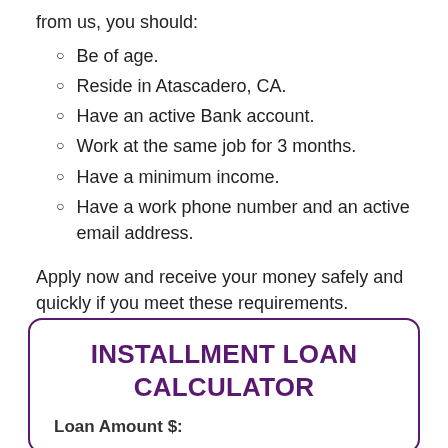from us, you should:
Be of age.
Reside in Atascadero, CA.
Have an active Bank account.
Work at the same job for 3 months.
Have a minimum income.
Have a work phone number and an active email address.
Apply now and receive your money safely and quickly if you meet these requirements.
INSTALLMENT LOAN CALCULATOR
Loan Amount $: